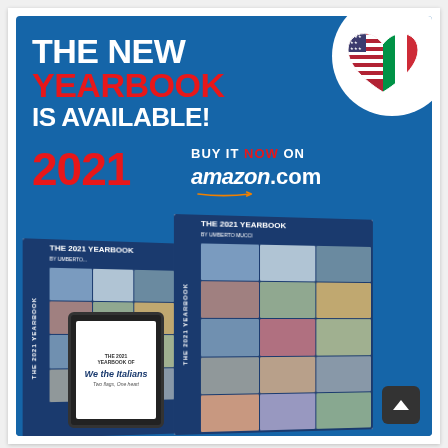[Figure (infographic): Advertisement for The 2021 Yearbook by Umberto Mucci, available on Amazon.com. Blue background with white and red headline text 'THE NEW YEARBOOK IS AVAILABLE! 2021', buy it NOW on amazon.com, with images of book covers showing photo collages of people, and a scroll-to-top button.]